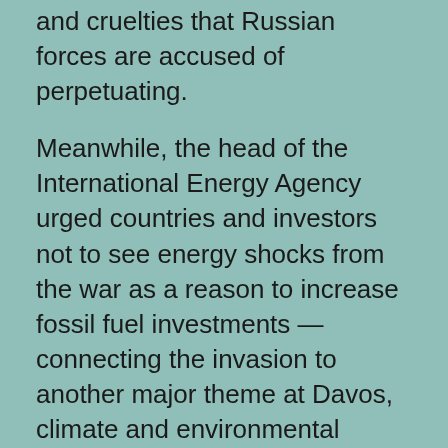and cruelties that Russian forces are accused of perpetuating.
Meanwhile, the head of the International Energy Agency urged countries and investors not to see energy shocks from the war as a reason to increase fossil fuel investments — connecting the invasion to another major theme at Davos, climate and environmental issues.
“We should not try to justify a new wave of long-term fossil fuel investments on the basis of what (Russian President Vladimir) Putin did,” Fatih Birol said,